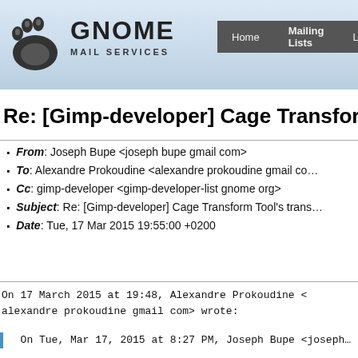GNOME MAIL SERVICES — Home  Mailing Lists  Lis…
Re: [Gimp-developer] Cage Transform
From: Joseph Bupe <joseph bupe gmail com>
To: Alexandre Prokoudine <alexandre prokoudine gmail co…>
Cc: gimp-developer <gimp-developer-list gnome org>
Subject: Re: [Gimp-developer] Cage Transform Tool's trans…
Date: Tue, 17 Mar 2015 19:55:00 +0200
On 17 March 2015 at 19:48, Alexandre Prokoudine <
alexandre prokoudine gmail com> wrote:
On Tue, Mar 17, 2015 at 8:27 PM, Joseph Bupe <joseph…